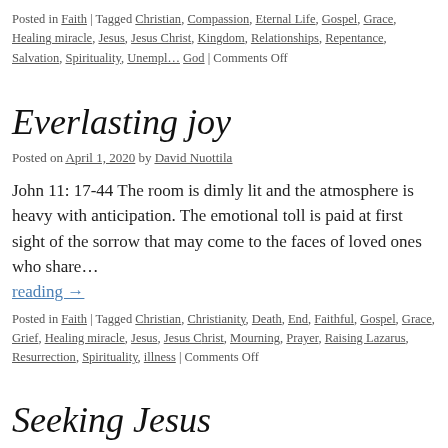Posted in Faith | Tagged Christian, Compassion, Eternal Life, Gospel, Grace, Healing miracle, Jesus, Jesus Christ, Kingdom, Relationships, Repentance, Salvation, Spirituality, Unemployment, God | Comments Off
Everlasting joy
Posted on April 1, 2020 by David Nuottila
John 11: 17-44 The room is dimly lit and the atmosphere is heavy with anticipation. The emotional toll is paid at first sight of the sorrow that may come to the faces of loved ones who share…
Continue reading →
Posted in Faith | Tagged Christian, Christianity, Death, End, Faithful, Gospel, Grace, Grief, Healing miracle, Jesus, Jesus Christ, Mourning, Prayer, Raising Lazarus, Resurrection, Spirituality, illness | Comments Off
Seeking Jesus